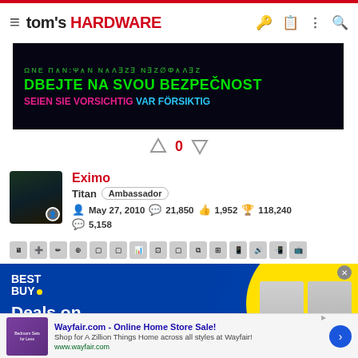tom's HARDWARE
[Figure (advertisement): Dark background ad with multilingual security warning text: green text line, 'DBEJTE NA SVOU BEZPEČNOST' in large green, 'SEIEN SIE VORSICHTIG VAR FÖRSIKTIG' in pink and cyan]
0
Eximo
Titan Ambassador
May 27, 2010  21,850  1,952  118,240
5,158
[Figure (advertisement): Best Buy advertisement: blue background, Best Buy logo, 'Deals on the tech' text, refrigerator image with yellow circle]
[Figure (advertisement): Wayfair.com - Online Home Store Sale! Shop for A Zillion Things Home across all styles at Wayfair! www.wayfair.com]